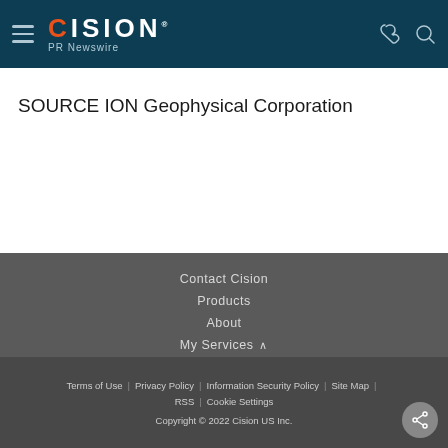CISION PR Newswire
SOURCE ION Geophysical Corporation
Contact Cision
Products
About
My Services
Cision Distribution Helpline 888-776-0942
Terms of Use | Privacy Policy | Information Security Policy | Site Map | RSS | Cookie Settings
Copyright © 2022 Cision US Inc.